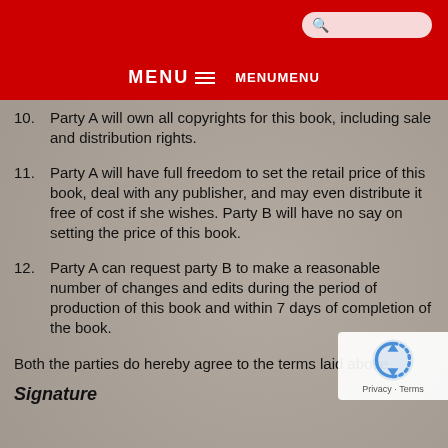MENU MENUMENU
10. Party A will own all copyrights for this book, including sale and distribution rights.
11. Party A will have full freedom to set the retail price of this book, deal with any publisher, and may even distribute it free of cost if she wishes. Party B will have no say on setting the price of this book.
12. Party A can request party B to make a reasonable number of changes and edits during the period of production of this book and within 7 days of completion of the book.
Both the parties do hereby agree to the terms laid above.
Signature